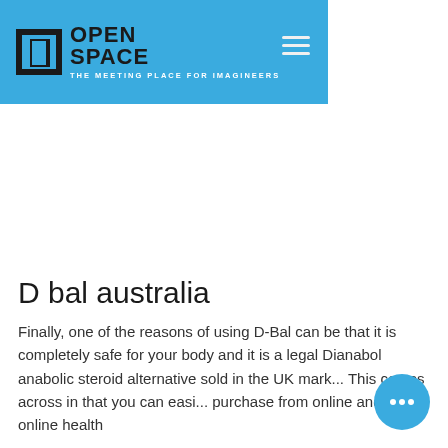OPEN SPACE — THE MEETING PLACE FOR IMAGINEERS
D bal australia
Finally, one of the reasons of using D-Bal can be that it is completely safe for your body and it is a legal Dianabol anabolic steroid alternative sold in the UK mark... This comes across in that you can easi... purchase from online and in all online health